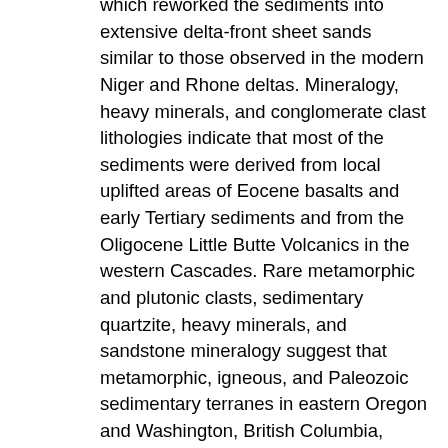which reworked the sediments into extensive delta-front sheet sands similar to those observed in the modern Niger and Rhone deltas. Mineralogy, heavy minerals, and conglomerate clast lithologies indicate that most of the sediments were derived from local uplifted areas of Eocene basalts and early Tertiary sediments and from the Oligocene Little Butte Volcanics in the western Cascades. Rare metamorphic and plutonic clasts, sedimentary quartzite, heavy minerals, and sandstone mineralogy suggest that metamorphic, igneous, and Paleozoic sedimentary terranes in eastern Oregon and Washington, British Columbia, Idaho, and Montana supplied some of the sediments, possibly via an ancestral Columbia River. Dikes, sills, and plugs of aphanitic to finely crystalline Depoe Bay Basalt intrude the older sedimentary rocks and locally are feeders for